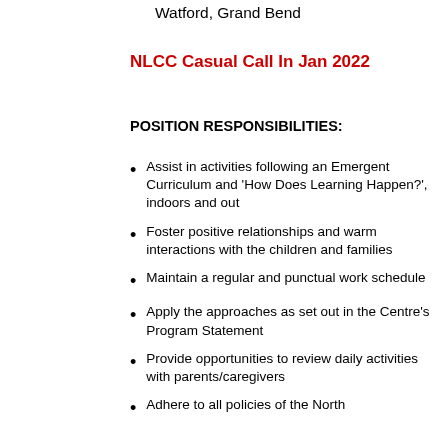Watford, Grand Bend
NLCC Casual Call In Jan 2022
POSITION RESPONSIBILITIES:
Assist in activities following an Emergent Curriculum and ‘How Does Learning Happen?’, indoors and out
Foster positive relationships and warm interactions with the children and families
Maintain a regular and punctual work schedule
Apply the approaches as set out in the Centre’s Program Statement
Provide opportunities to review daily activities with parents/caregivers
Adhere to all policies of the North